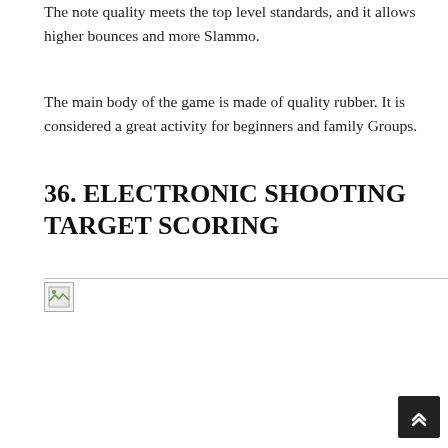The note quality meets the top level standards, and it allows higher bounces and more Slammo.
The main body of the game is made of quality rubber. It is considered a great activity for beginners and family Groups.
36. ELECTRONIC SHOOTING TARGET SCORING
[Figure (photo): Broken image placeholder with small thumbnail icon, horizontal rule above]